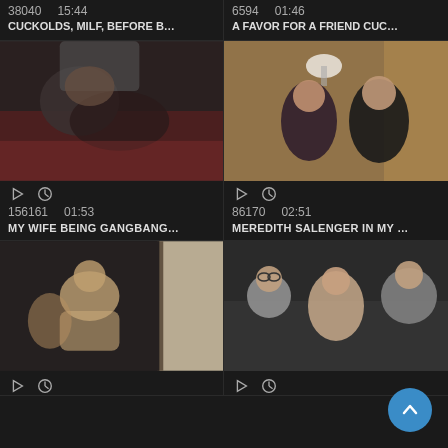38040  15:44  CUCKOLDS, MILF, BEFORE B...
6594  01:46  A FAVOR FOR A FRIEND CUC...
[Figure (photo): Video thumbnail dark intimate scene]
[Figure (photo): Video thumbnail two people on bed looking at each other]
156161  01:53  MY WIFE BEING GANGBANG...
86170  02:51  MEREDITH SALENGER IN MY ...
[Figure (photo): Video thumbnail dark blurry scene]
[Figure (photo): Video thumbnail group of people on couch]